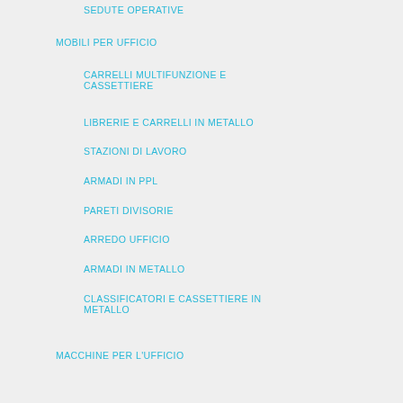SEDUTE OPERATIVE
MOBILI PER UFFICIO
CARRELLI MULTIFUNZIONE E CASSETTIERE
LIBRERIE E CARRELLI IN METALLO
STAZIONI DI LAVORO
ARMADI IN PPL
PARETI DIVISORIE
ARREDO UFFICIO
ARMADI IN METALLO
CLASSIFICATORI E CASSETTIERE IN METALLO
MACCHINE PER L'UFFICIO